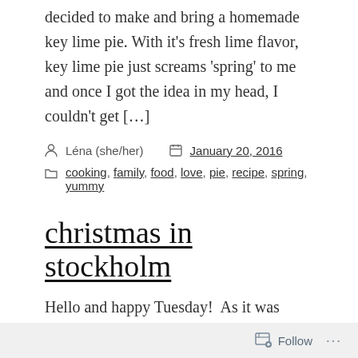decided to make and bring a homemade key lime pie. With it’s fresh lime flavor, key lime pie just screams ‘spring’ to me and once I got the idea in my head, I couldn’t get […]
Léna (she/her)   January 20, 2016
cooking, family, food, love, pie, recipe, spring, yummy
christmas in stockholm
Hello and happy Tuesday!  As it was Martin Luther King Jr. day in the US, I decided to take Monday off from blogging as well.  I have to say,
Follow ...